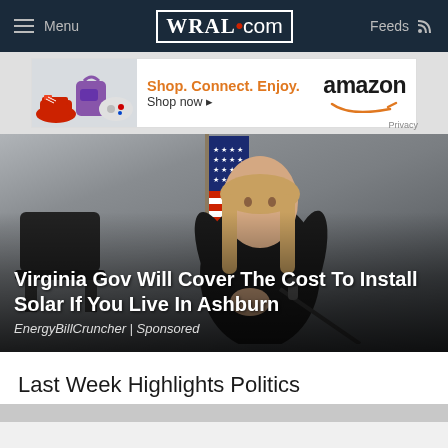WRAL.com — Menu | Feeds
[Figure (other): Amazon advertisement banner: Shop. Connect. Enjoy. Shop now — amazon. Privacy]
[Figure (photo): Woman in black outfit sitting at a desk with a microphone, American flag in background, serious expression]
Virginia Gov Will Cover The Cost To Install Solar If You Live In Ashburn
EnergyBillCruncher | Sponsored
Last Week Highlights Politics